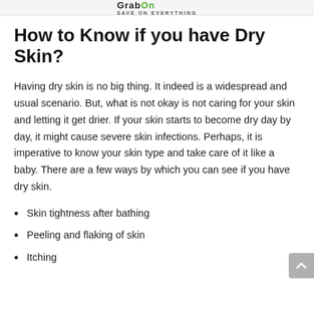GrabOn SAVE ON EVERYTHING
How to Know if you have Dry Skin?
Having dry skin is no big thing. It indeed is a widespread and usual scenario. But, what is not okay is not caring for your skin and letting it get drier. If your skin starts to become dry day by day, it might cause severe skin infections. Perhaps, it is imperative to know your skin type and take care of it like a baby. There are a few ways by which you can see if you have dry skin.
Skin tightness after bathing
Peeling and flaking of skin
Itching